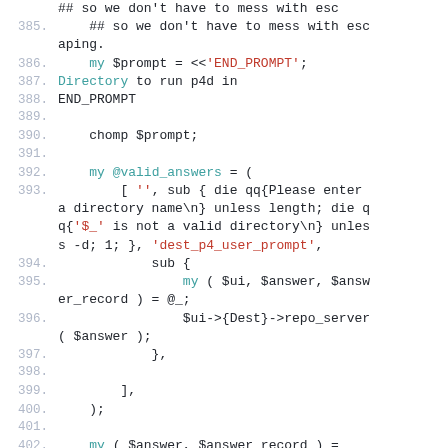[Figure (screenshot): Source code listing in Perl, lines 385-403, with syntax highlighting. Line numbers in gray on left, keywords in teal, strings in red, plain code in dark.]